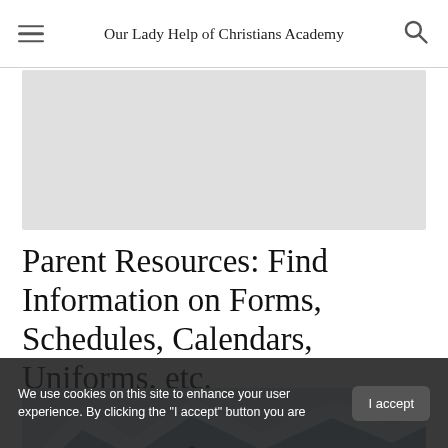Our Lady Help of Christians Academy
[Figure (other): Gray placeholder banner image area]
Parent Resources: Find Information on Forms, Schedules, Calendars, Uniforms, etc.
[Figure (photo): Mountain landscape with snow-capped peaks and a dark foreground structure]
We use cookies on this site to enhance your user experience. By clicking the "I accept" button you are